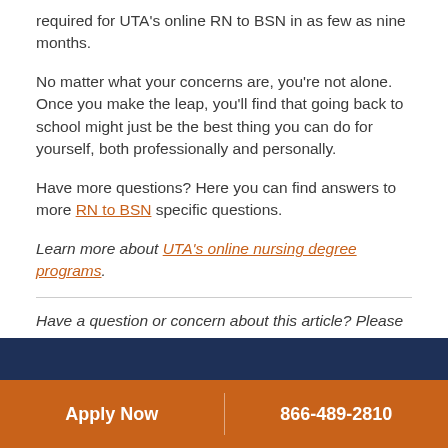required for UTA's online RN to BSN in as few as nine months.
No matter what your concerns are, you're not alone. Once you make the leap, you'll find that going back to school might just be the best thing you can do for yourself, both professionally and personally.
Have more questions? Here you can find answers to more RN to BSN specific questions.
Learn more about UTA's online nursing degree programs.
Have a question or concern about this article? Please contact us.
Apply Now | 866-489-2810